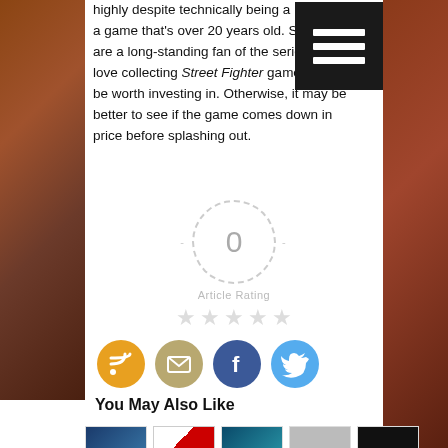highly despite technically being a remake of a game that's over 20 years old. So, if you are a long-standing fan of the series and love collecting Street Fighter games, it could be worth investing in. Otherwise, it may be better to see if the game comes down in price before splashing out.
[Figure (infographic): Article rating widget showing a dashed circle with '0' in the center, the text 'Article Rating' below, and five empty/gray stars beneath that.]
[Figure (infographic): Social sharing icons: RSS (orange circle), Email (tan/gold circle), Facebook (blue circle with f logo), Twitter (light blue circle with bird logo)]
You May Also Like
[Figure (photo): Row of five small thumbnail images for related articles]